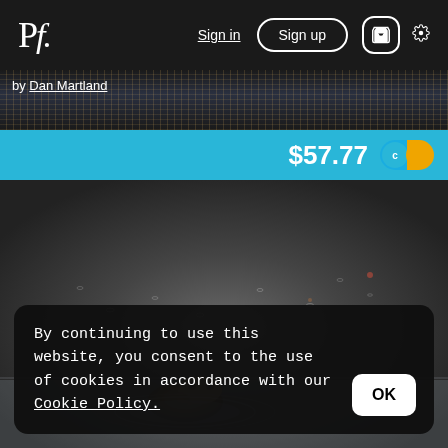Pf. | Sign in | Sign up | Cart | Settings
by Dan Martland
$57.77
[Figure (photo): Close-up photo of a frog or toad in water with ripples on a gray surface, with a city skyline in the background strip]
By continuing to use this website, you consent to the use of cookies in accordance with our Cookie Policy.